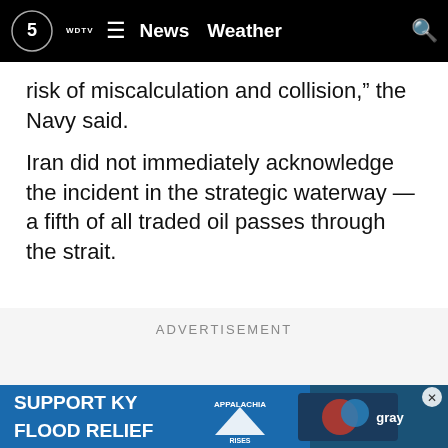WDTV 5 News Weather
risk of miscalculation and collision,” the Navy said.
Iran did not immediately acknowledge the incident in the strategic waterway — a fifth of all traded oil passes through the strait.
ADVERTISEMENT
The Navy separately told The Associated Press that this marked the second so-called “unsafe and unprofessional” incident it had with Iran in recent months.
On Ma... ker for over tw... ssels
[Figure (infographic): Support KY Flood Relief banner ad with Appalachia Rises and Gray Television logos]